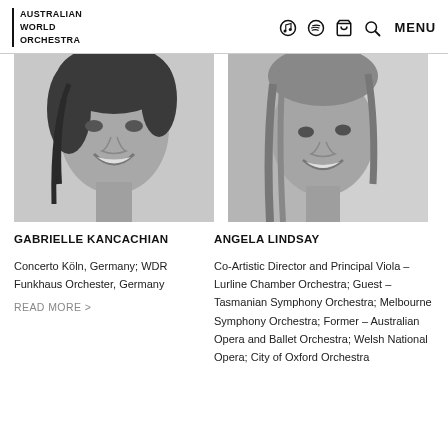AUSTRALIAN WORLD ORCHESTRA | MENU
[Figure (photo): Black and white close-up photo of Gabrielle Kancachian smiling]
[Figure (photo): Black and white close-up photo of Angela Lindsay smiling]
GABRIELLE KANCACHIAN
Concerto Köln, Germany; WDR Funkhaus Orchester, Germany
READ MORE >
ANGELA LINDSAY
Co-Artistic Director and Principal Viola – Lurline Chamber Orchestra; Guest – Tasmanian Symphony Orchestra; Melbourne Symphony Orchestra; Former – Australian Opera and Ballet Orchestra; Welsh National Opera; City of Oxford Orchestra